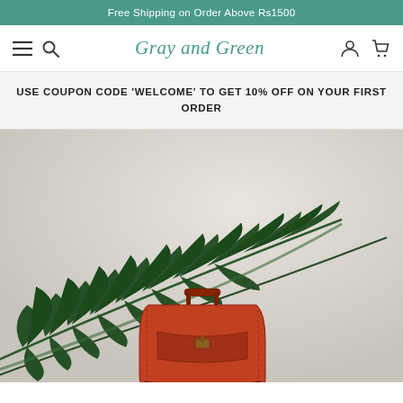Free Shipping on Order Above Rs1500
[Figure (screenshot): Navigation bar with hamburger menu, search icon, Gray and Green logo in teal script, user account icon, and shopping cart icon on white background]
USE COUPON CODE 'WELCOME' TO GET 10% OFF ON YOUR FIRST ORDER
[Figure (photo): Product lifestyle photo showing a red/tan leather handbag with handle at the bottom, with a large tropical palm frond/leaf in dark green in the foreground, against a light gray gradient background]